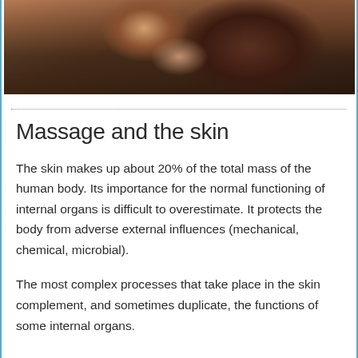[Figure (photo): Close-up photo of a person's shoulder and curly hair, dark-toned background]
Massage and the skin
The skin makes up about 20% of the total mass of the human body. Its importance for the normal functioning of internal organs is difficult to overestimate. It protects the body from adverse external influences (mechanical, chemical, microbial).
The most complex processes that take place in the skin complement, and sometimes duplicate, the functions of some internal organs.